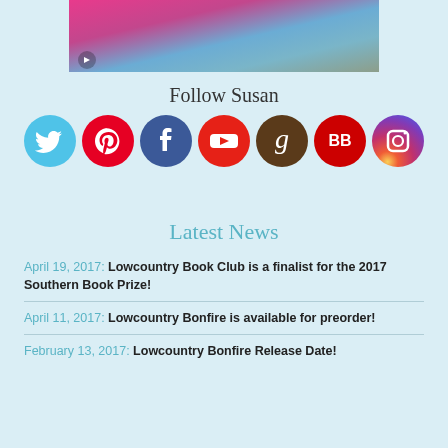[Figure (photo): Partial photo of a woman in a bright pink jacket with a colorful scarf, cropped at the top of the page]
Follow Susan
[Figure (infographic): Row of seven social media icon circles: Twitter (light blue), Pinterest (red), Facebook (dark blue), YouTube (red), Goodreads (brown), BookBub (red/white BB), Instagram (gradient)]
Latest News
April 19, 2017: Lowcountry Book Club is a finalist for the 2017 Southern Book Prize!
April 11, 2017: Lowcountry Bonfire is available for preorder!
February 13, 2017: Lowcountry Bonfire Release Date!